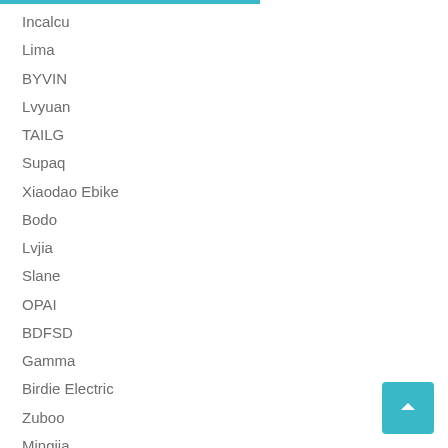Incalcu
Lima
BYVIN
Lvyuan
TAILG
Supaq
Xiaodao Ebike
Bodo
Lvjia
Slane
OPAI
BDFSD
Gamma
Birdie Electric
Zuboo
Mingjia
Giant EV
Qianxi Vehicle
Lyneng